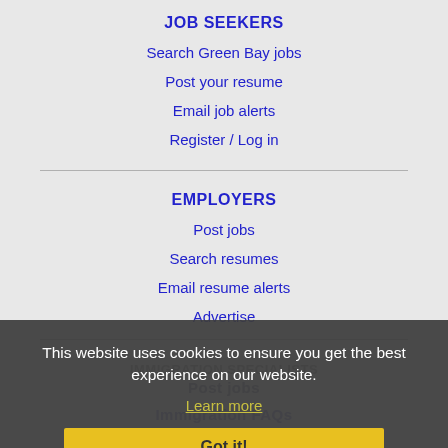JOB SEEKERS
Search Green Bay jobs
Post your resume
Email job alerts
Register / Log in
EMPLOYERS
Post jobs
Search resumes
Email resume alerts
Advertise
This website uses cookies to ensure you get the best experience on our website.
Learn more
Got it!
IMMIGRATION SPECIALISTS
Post jobs
Immigration FAQs
Learn more